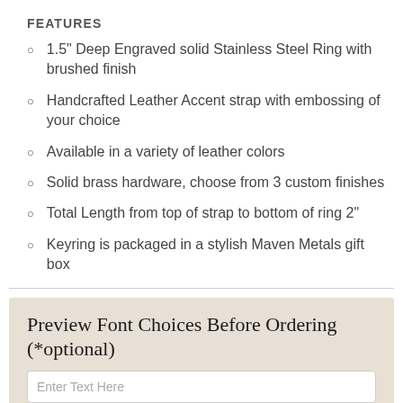FEATURES
1.5" Deep Engraved solid Stainless Steel Ring with brushed finish
Handcrafted Leather Accent strap with embossing of your choice
Available in a variety of leather colors
Solid brass hardware, choose from 3 custom finishes
Total Length from top of strap to bottom of ring 2"
Keyring is packaged in a stylish Maven Metals gift box
Preview Font Choices Before Ordering (*optional)
Enter Text Here